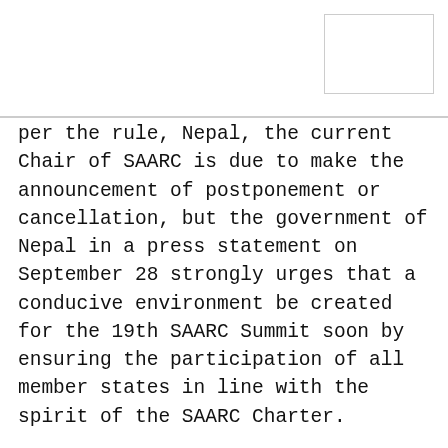per the rule, Nepal, the current Chair of SAARC is due to make the announcement of postponement or cancellation, but the government of Nepal in a press statement on September 28 strongly urges that a conducive environment be created for the 19th SAARC Summit soon by ensuring the participation of all member states in line with the spirit of the SAARC Charter.
The Pakistan foreign ministry said all preparations were made to hold the summit but had to be called off after impediments by Indian government, which contradicts the PM Narendra Modi’s call to fight poverty in the region.
“India’s decision to abstain from the Summit on